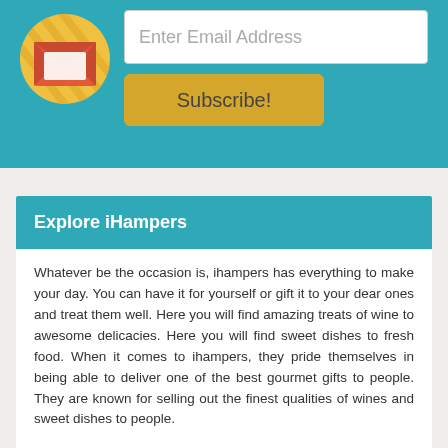[Figure (infographic): Email subscription form with envelope icon, email input field, and Subscribe button on teal background]
Explore iHampers
Whatever be the occasion is, ihampers has everything to make your day. You can have it for yourself or gift it to your dear ones and treat them well. Here you will find amazing treats of wine to awesome delicacies. Here you will find sweet dishes to fresh food. When it comes to ihampers, they pride themselves in being able to deliver one of the best gourmet gifts to people. They are known for selling out the finest qualities of wines and sweet dishes to people.
With their experience and knowledge, they have been able to create quality products that are delivered on different occasions across UK. All the products are available at affordable rates, which make it better for the people. They have a variety of choices available at their store so that it becomes easy for the people to choose their favorite hamper.